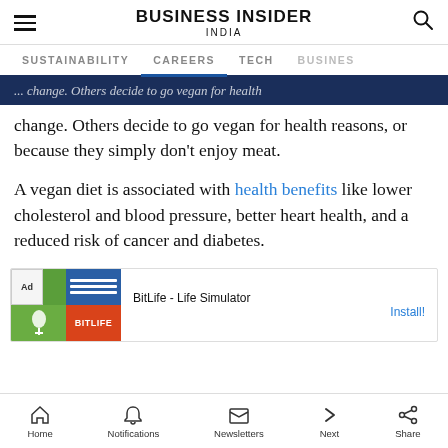BUSINESS INSIDER INDIA
SUSTAINABILITY   CAREERS   TECH   BUSINESS
...change. Others decide to go vegan for health reasons, or because they simply don't enjoy meat.
A vegan diet is associated with health benefits like lower cholesterol and blood pressure, better heart health, and a reduced risk of cancer and diabetes.
[Figure (screenshot): BitLife - Life Simulator advertisement banner]
Home   Notifications   Newsletters   Next   Share